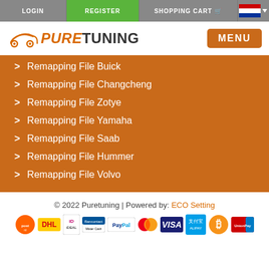LOGIN | REGISTER | SHOPPING CART | EN
[Figure (logo): PureTuning logo with orange car silhouette and MENU button]
> Remapping File Buick
> Remapping File Changcheng
> Remapping File Zotye
> Remapping File Yamaha
> Remapping File Saab
> Remapping File Hummer
> Remapping File Volvo
© 2022 Puretuning | Powered by: ECO Setting
[Figure (infographic): Payment method logos: PostNL, DHL, iDEAL, Bancontact/Mister Cash, PayPal, MasterCard, VISA, Alipay, Bitcoin, UnionPay]